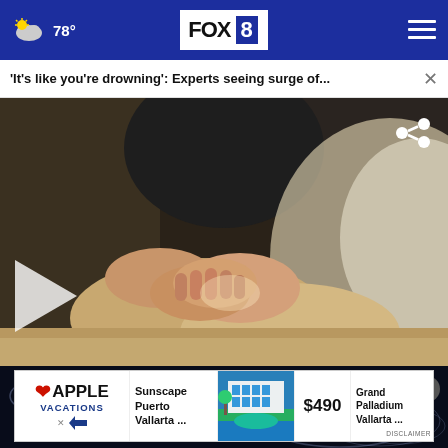FOX 8 — 78°
'It's like you're drowning': Experts seeing surge of...
[Figure (photo): Close-up of a person's clasped hands resting on their lap, with a video play button overlay on the left side and a share icon on the upper right. News story thumbnail with mental health theme.]
[Figure (photo): Dark advertisement banner with cosmic/space themed background and decorative line graphics.]
[Figure (other): Apple Vacations advertisement banner showing Sunscape Puerto Vallarta hotel deal for $490, with resort image, and Grand Palladium Vallarta listing.]